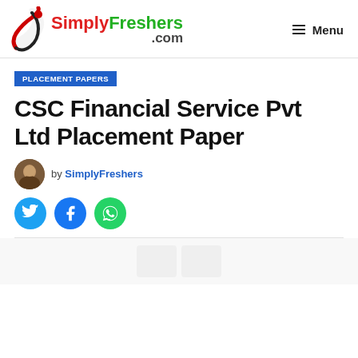[Figure (logo): SimplyFreshers.com logo with icon and Menu button]
PLACEMENT PAPERS
CSC Financial Service Pvt Ltd Placement Paper
by SimplyFreshers
[Figure (illustration): Author avatar and social share buttons (Twitter, Facebook, WhatsApp)]